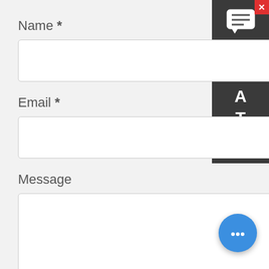Name *
[Figure (screenshot): Empty text input field for Name]
Email *
[Figure (screenshot): Empty text input field for Email]
Message
[Figure (screenshot): Textarea for message with chat bubble overlay reading: Hello, glad to talk with you!Which equipment are you interested in?Kindly leave your name and email add, we will reply you with detail]
[Figure (screenshot): Dark sidebar with CHAT label vertically and chat icon, plus close X button]